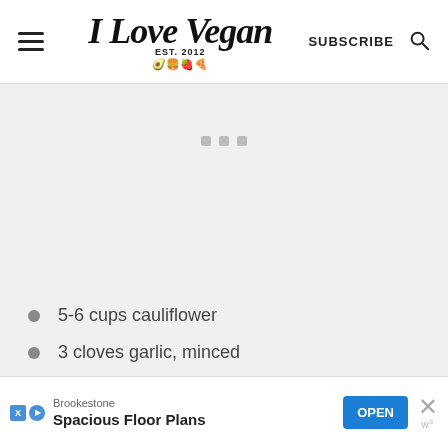I Love Vegan EST. 2012 | SUBSCRIBE
[Figure (other): Gray placeholder content area with three small gray squares as loading indicators]
5-6 cups cauliflower
3 cloves garlic, minced
1 ½ tbsp olive oil
Brookestone Spacious Floor Plans OPEN